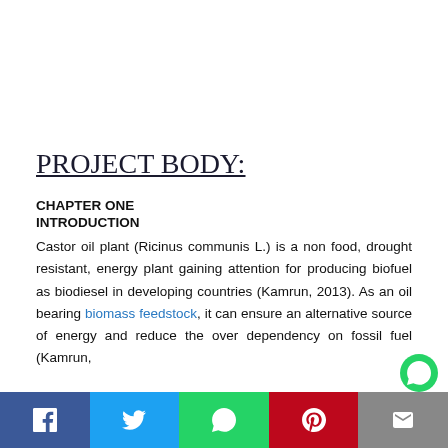PROJECT BODY:
CHAPTER ONE
INTRODUCTION
Castor oil plant (Ricinus communis L.) is a non food, drought resistant, energy plant gaining attention for producing biofuel as biodiesel in developing countries (Kamrun, 2013). As an oil bearing biomass feedstock, it can ensure an alternative source of energy and reduce the over dependency on fossil fuel (Kamrun,